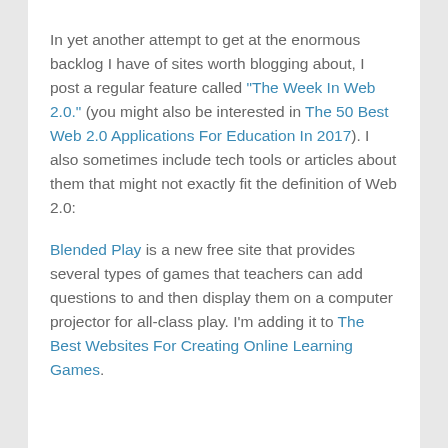In yet another attempt to get at the enormous backlog I have of sites worth blogging about, I post a regular feature called “The Week In Web 2.0.” (you might also be interested in The 50 Best Web 2.0 Applications For Education In 2017). I also sometimes include tech tools or articles about them that might not exactly fit the definition of Web 2.0:
Blended Play is a new free site that provides several types of games that teachers can add questions to and then display them on a computer projector for all-class play. I’m adding it to The Best Websites For Creating Online Learning Games.